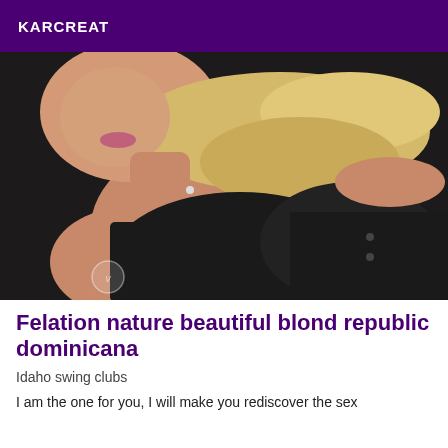KARCREAT
[Figure (photo): A blonde woman wearing a black top and black shorts, lying back in a relaxed pose, photographed from above.]
Felation nature beautiful blond republic dominicana
Idaho swing clubs
I am the one for you, I will make you rediscover the sex